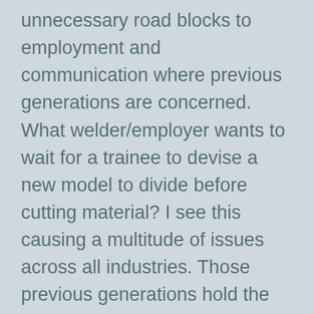unnecessary road blocks to employment and communication where previous generations are concerned. What welder/employer wants to wait for a trainee to devise a new model to divide before cutting material? I see this causing a multitude of issues across all industries. Those previous generations hold the key to skills, which will die out, if they are not effectively communicated to the next generation. If this is the case, common core is creating an artificial communication block between generations by teaching students to think creatively, rather than follow proven effective math methodology. To abandon previous convention is a dangerous road to travel.